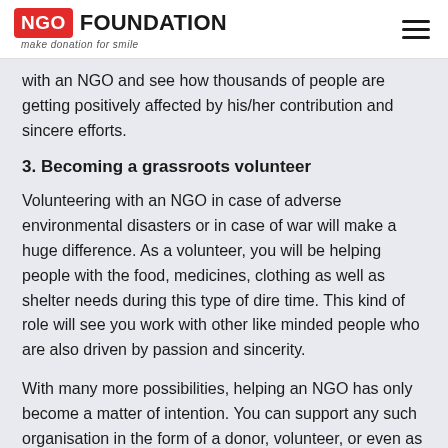NGO FOUNDATION make donation for smile
with an NGO and see how thousands of people are getting positively affected by his/her contribution and sincere efforts.
3. Becoming a grassroots volunteer
Volunteering with an NGO in case of adverse environmental disasters or in case of war will make a huge difference. As a volunteer, you will be helping people with the food, medicines, clothing as well as shelter needs during this type of dire time. This kind of role will see you work with other like minded people who are also driven by passion and sincerity.
With many more possibilities, helping an NGO has only become a matter of intention. You can support any such organisation in the form of a donor, volunteer, or even as a CSR investor.
How can Justdial help you in finding the nearest